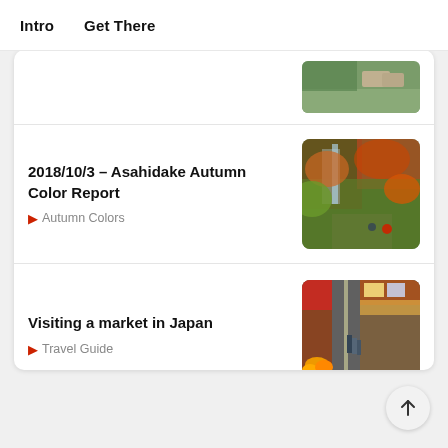Intro   Get There
[Figure (photo): Partial photo visible at top of card — outdoor scene with cars and green trees]
2018/10/3 - Asahidake Autumn Color Report
Autumn Colors
[Figure (photo): Autumn foliage scene with waterfall and colorful trees at Asahidake]
Visiting a market in Japan
Travel Guide
[Figure (photo): Street market in Japan with food stalls, vendors, and colorful produce]
More Stories >